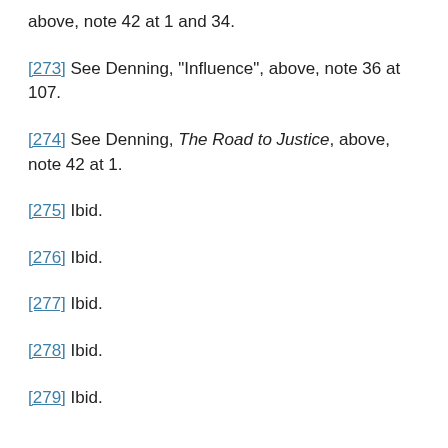above, note 42 at 1 and 34.
[273] See Denning, “Influence”, above, note 36 at 107.
[274] See Denning, The Road to Justice, above, note 42 at 1.
[275] Ibid.
[276] Ibid.
[277] Ibid.
[278] Ibid.
[279] Ibid.